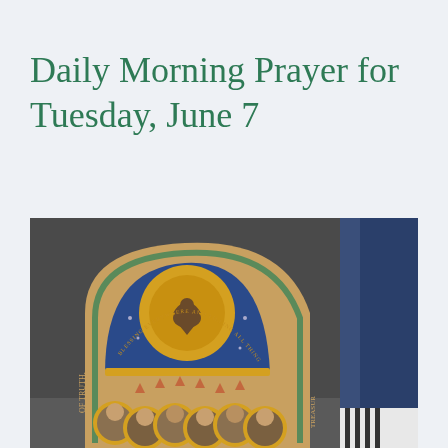Daily Morning Prayer for Tuesday, June 7
[Figure (photo): A decorative religious icon/plaque showing a dove (symbol of the Holy Spirit) in a golden circle at the top center, surrounded by an arch inscribed with text reading 'BLESSING EVERYWHERE AND FILLING ALL THINGS', with multiple apostle or saint figures with golden halos arranged below. The background is dark gray. Partially visible text on left and right edges.]